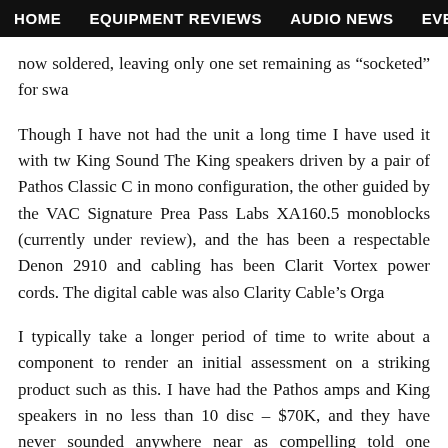HOME   EQUIPMENT REVIEWS   AUDIO NEWS   EVENT REPORTS   S
now soldered, leaving only one set remaining as “socketed” for swa
Though I have not had the unit a long time I have used it with tw King Sound The King speakers driven by a pair of Pathos Classic C in mono configuration, the other guided by the VAC Signature Prea Pass Labs XA160.5 monoblocks (currently under review), and the has been a respectable Denon 2910 and cabling has been Clarit Vortex power cords. The digital cable was also Clarity Cable’s Orga
I typically take a longer period of time to write about a component to render an initial assessment on a striking product such as this. I have had the Pathos amps and King speakers in no less than 10 disc – $70K, and they have never sounded anywhere near as compelling told one acquaintance on the phone, “This DAC can perceptually mean it. Those who have not put too many systems together will sc those who know system building inside and out will not laugh. The